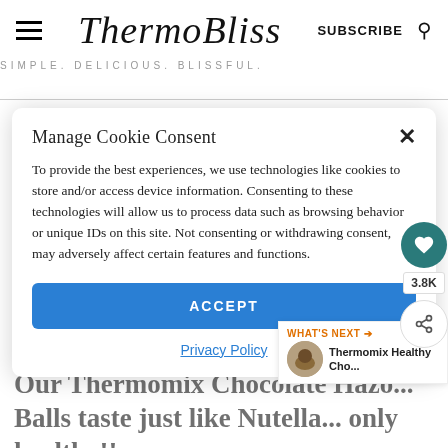ThermoBliss — SIMPLE. DELICIOUS. BLISSFUL.
Manage Cookie Consent
To provide the best experiences, we use technologies like cookies to store and/or access device information. Consenting to these technologies will allow us to process data such as browsing behavior or unique IDs on this site. Not consenting or withdrawing consent, may adversely affect certain features and functions.
ACCEPT
Privacy Policy
Our Thermomix Chocolate Hazo... Balls taste just like Nutella... only healthy!!